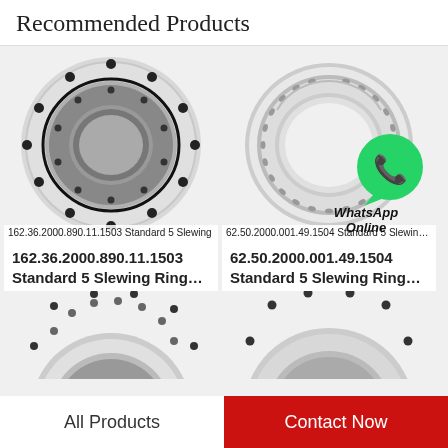Recommended Products
[Figure (photo): 162.36.2000.890.11.1503 Standard 5 Slewing Ring bearing, circular steel ring with bolt holes]
162.36.2000.890.11.1503 Standard 5 Slewing
162.36.2000.890.11.1503 Standard 5 Slewing Ring…
[Figure (photo): 62.50.2000.001.49.1504 Standard 5 Slewing Ring bearing with WhatsApp Online chat bubble overlay]
62.50.2000.001.49.1504 Standard 5 Slewing R
62.50.2000.001.49.1504 Standard 5 Slewing Ring…
[Figure (photo): Partial view of a slewing ring bearing, left column bottom row]
[Figure (photo): Partial view of a slewing ring bearing, right column bottom row]
All Products
Contact Now